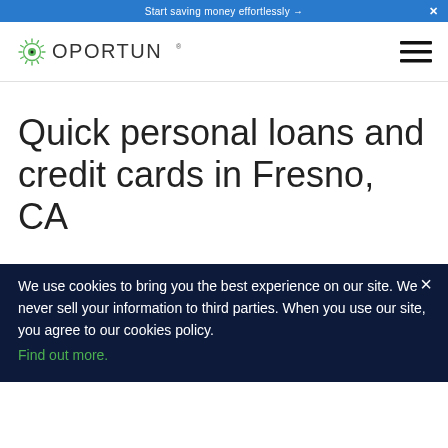Start saving money effortlessly →  ✕
[Figure (logo): Oportun logo with green sunburst/eye icon and hamburger menu icon on the right]
Quick personal loans and credit cards in Fresno, CA
We use cookies to bring you the best experience on our site. We never sell your information to third parties. When you use our site, you agree to our cookies policy. Find out more.